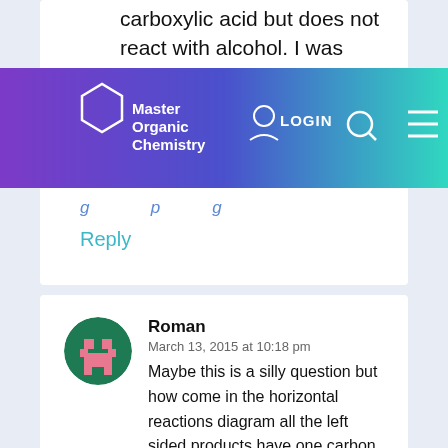carboxylic acid but does not react with alcohol. I was
[Figure (screenshot): Navigation bar for Master Organic Chemistry website with purple-to-teal gradient, hexagon logo, LOGIN button, search icon, and hamburger menu]
(partially visible italic text below navbar)
Reply
Roman
March 13, 2015 at 10:18 pm
Maybe this is a silly question but how come in the horizontal reactions diagram all the left sided products have one carbon atom less than the alkene/alkyne/ynol they are formed from yet all the